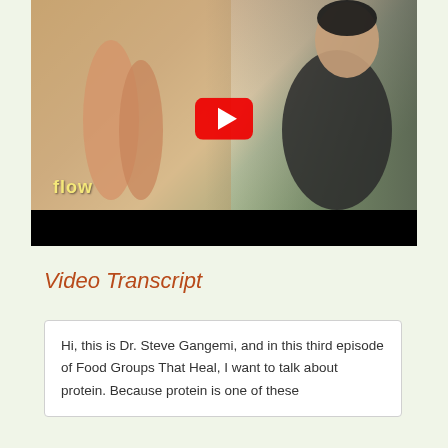[Figure (screenshot): YouTube video thumbnail showing a person in a black long-sleeve shirt on the right side, and bare feet/legs on sandy ground on the left side, with a glowing 'flow' text overlay in the lower left, a red YouTube play button in the center, and a black control bar at the bottom.]
Video Transcript
Hi, this is Dr. Steve Gangemi, and in this third episode of Food Groups That Heal, I want to talk about protein. Because protein is one of these